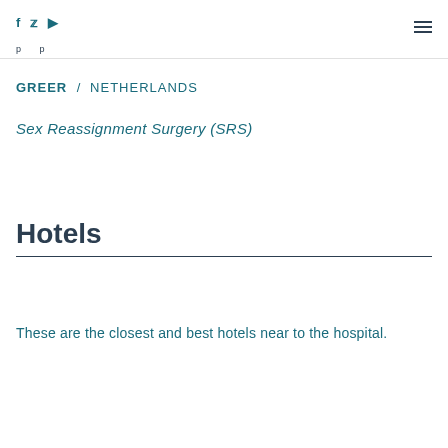f  t  ▶  ☰
... p ... p ...
GREER / NETHERLANDS
Sex Reassignment Surgery (SRS)
Hotels
These are the closest and best hotels near to the hospital.